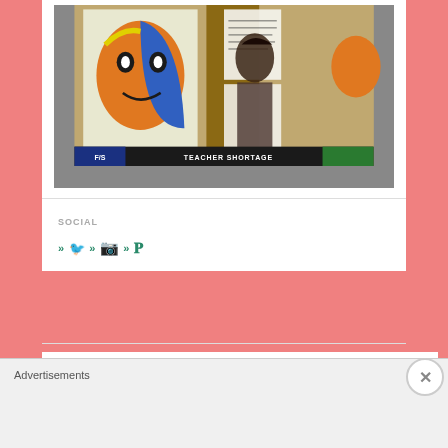[Figure (photo): A classroom or educational setting with colorful pop-art style portrait posters on the wall, a person standing in front of a bulletin board with papers, and a TV news lower-third graphic reading TEACHER SHORTAGE]
SOCIAL
» (Twitter) » (Instagram) » (Pinterest)
BLOG STATS
Advertisements